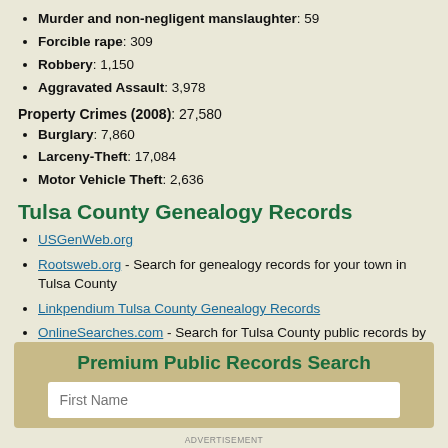Murder and non-negligent manslaughter: 59
Forcible rape: 309
Robbery: 1,150
Aggravated Assault: 3,978
Property Crimes (2008): 27,580
Burglary: 7,860
Larceny-Theft: 17,084
Motor Vehicle Theft: 2,636
Tulsa County Genealogy Records
USGenWeb.org
Rootsweb.org - Search for genealogy records for your town in Tulsa County
Linkpendium Tulsa County Genealogy Records
OnlineSearches.com - Search for Tulsa County public records by town, record type, and/or state.
Premium Public Records Search
First Name
ADVERTISEMENT